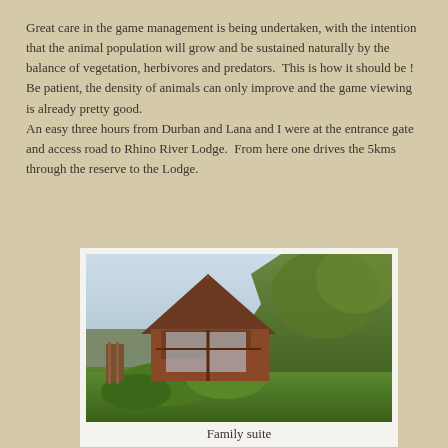Great care in the game management is being undertaken, with the intention that the animal population will grow and be sustained naturally by the balance of vegetation, herbivores and predators.  This is how it should be ! Be patient, the density of animals can only improve and the game viewing is already pretty good.
An easy three hours from Durban and Lana and I were at the entrance gate and access road to Rhino River Lodge.  From here one drives the 5kms through the reserve to the Lodge.
[Figure (photo): Photo of a family suite lodge building with a large A-frame thatched/wooden roof, wooden structure with large windows, surrounded by lush green trees and vegetation.]
Family suite